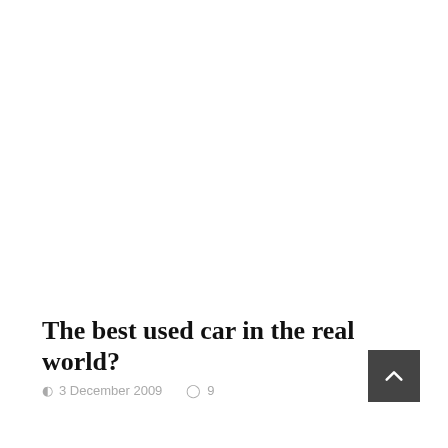The best used car in the real world?
3 December 2009  9